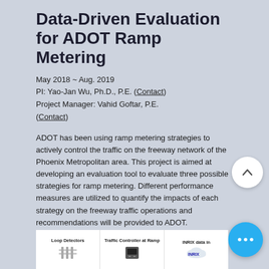Data-Driven Evaluation for ADOT Ramp Metering
May 2018 ~ Aug. 2019
PI: Yao-Jan Wu, Ph.D., P.E. (Contact)
Project Manager: Vahid Goftar, P.E. (Contact)
ADOT has been using ramp metering strategies to actively control the traffic on the freeway network of the Phoenix Metropolitan area. This project is aimed at developing an evaluation tool to evaluate three possible strategies for ramp metering. Different performance measures are utilized to quantify the impacts of each strategy on the freeway traffic operations and recommendations will be provided to ADOT.
[Figure (logo): ADOT logo with purple A and green DOT text]
[Figure (infographic): Bottom infographic strip showing Loop Detectors, Traffic Controller at Ramp, and INRIX data icons]